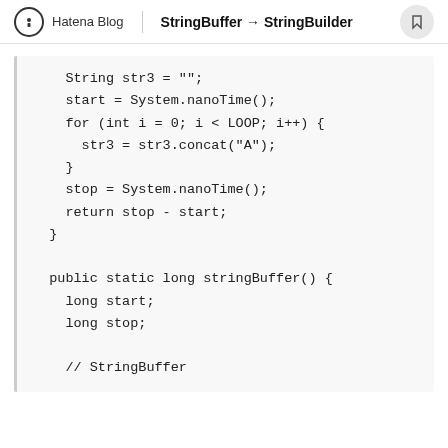Hatena Blog | StringBuffer → StringBuilder